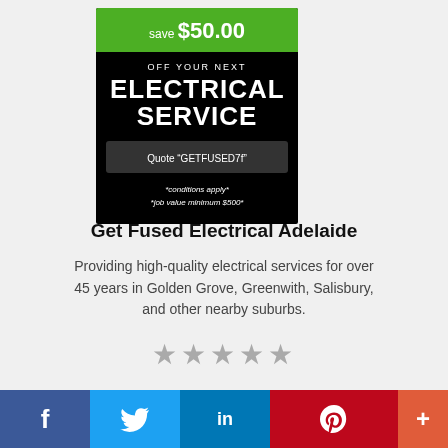[Figure (infographic): Coupon offering save $50.00 off your next Electrical Service. Quote 'GETFUSED7f'. Conditions apply, job value minimum $500.]
Get Fused Electrical Adelaide
Providing high-quality electrical services for over 45 years in Golden Grove, Greenwith, Salisbury, and other nearby suburbs.
[Figure (other): Five grey star rating icons]
[Figure (logo): Partial logo showing large letters 'J & M' in dark red serif font]
[Figure (infographic): Social sharing bar with Facebook, Twitter, LinkedIn, Pinterest, and More buttons]